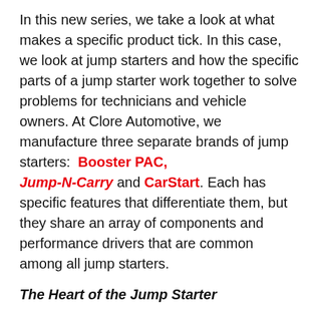In this new series, we take a look at what makes a specific product tick. In this case, we look at jump starters and how the specific parts of a jump starter work together to solve problems for technicians and vehicle owners. At Clore Automotive, we manufacture three separate brands of jump starters:  Booster PAC, Jump-N-Carry and CarStart. Each has specific features that differentiate them, but they share an array of components and performance drivers that are common among all jump starters.
The Heart of the Jump Starter
The battery is the most important contributor to jump starter performance. It impacts everything from the jump starter's max boosting capacity, the number of